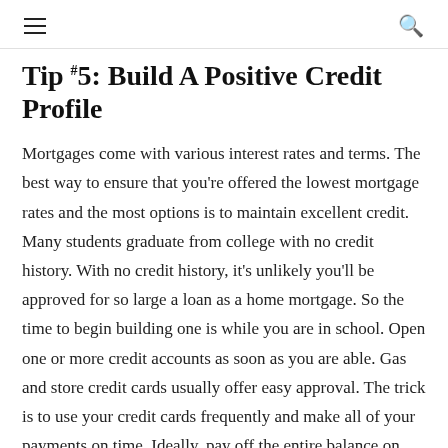≡  🔍
Tip #5: Build A Positive Credit Profile
Mortgages come with various interest rates and terms. The best way to ensure that you're offered the lowest mortgage rates and the most options is to maintain excellent credit. Many students graduate from college with no credit history. With no credit history, it's unlikely you'll be approved for so large a loan as a home mortgage. So the time to begin building one is while you are in school. Open one or more credit accounts as soon as you are able. Gas and store credit cards usually offer easy approval. The trick is to use your credit cards frequently and make all of your payments on time. Ideally, pay off the entire balance on each card each